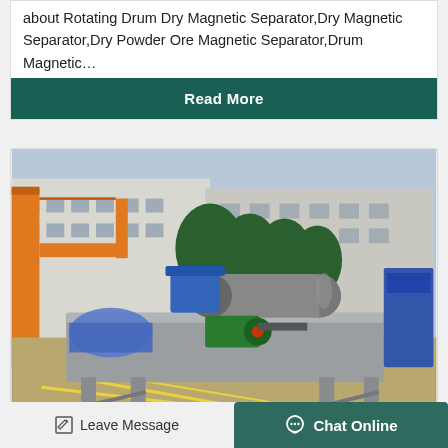about Rotating Drum Dry Magnetic Separator,Dry Magnetic Separator,Dry Powder Ore Magnetic Separator,Drum Magnetic…
Read More
[Figure (photo): Photograph of a large industrial rotating drum dry magnetic separator machine on a factory/outdoor grounds. The machine is grey/silver colored with a large cylindrical drum, green motor drive, and blue hopper/feed components. An orange crane structure and industrial building are visible in the background.]
Leave Message
Chat Online